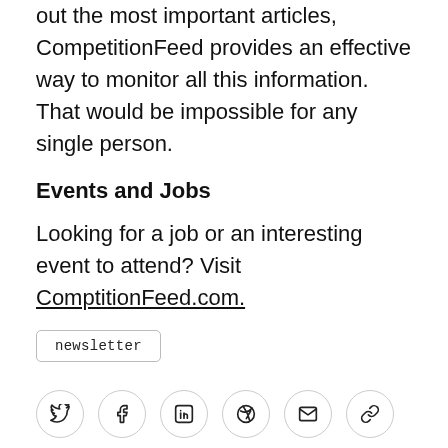out the most important articles, CompetitionFeed provides an effective way to monitor all this information. That would be impossible for any single person.
Events and Jobs
Looking for a job or an interesting event to attend? Visit ComptitionFeed.com.
newsletter
[Figure (other): Social sharing icons: Twitter, Facebook, LinkedIn, Pinterest, Email, Link]
Valur Thrainsson